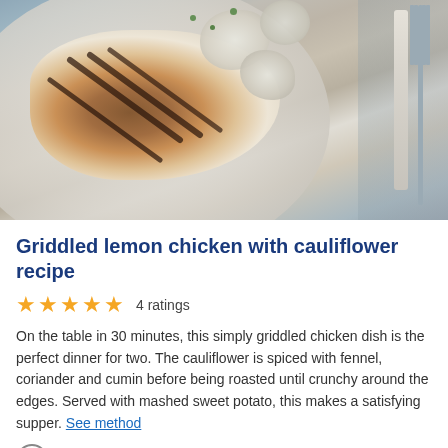[Figure (photo): Griddled lemon chicken with cauliflower on a grey plate, with cutlery on a grey linen background]
Griddled lemon chicken with cauliflower recipe
4 ratings (5 stars)
On the table in 30 minutes, this simply griddled chicken dish is the perfect dinner for two. The cauliflower is spiced with fennel, coriander and cumin before being roasted until crunchy around the edges. Served with mashed sweet potato, this makes a satisfying supper. See method
Serves 2
10 minutes prep and 25 minutes cook